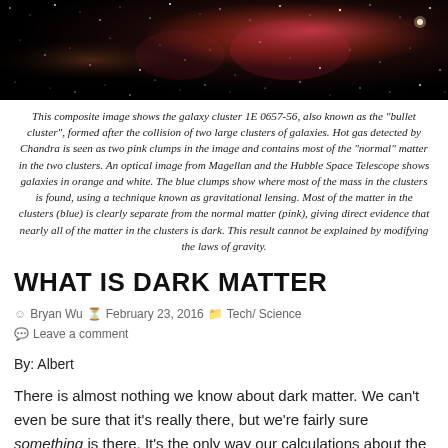[Figure (photo): Deep space/galaxy cluster composite image showing stars, nebulae, pink and blue clumps against dark background — the bullet cluster 1E 0657-56]
This composite image shows the galaxy cluster 1E 0657-56, also known as the "bullet cluster", formed after the collision of two large clusters of galaxies. Hot gas detected by Chandra is seen as two pink clumps in the image and contains most of the "normal" matter in the two clusters. An optical image from Magellan and the Hubble Space Telescope shows galaxies in orange and white. The blue clumps show where most of the mass in the clusters is found, using a technique known as gravitational lensing. Most of the matter in the clusters (blue) is clearly separate from the normal matter (pink), giving direct evidence that nearly all of the matter in the clusters is dark. This result cannot be explained by modifying the laws of gravity.
WHAT IS DARK MATTER
Bryan Wu   February 23, 2016   Tech/ Science   Leave a comment
By: Albert
There is almost nothing we know about dark matter. We can't even be sure that it's really there, but we're fairly sure something is there. It's the only way our calculations about the universe make sense.